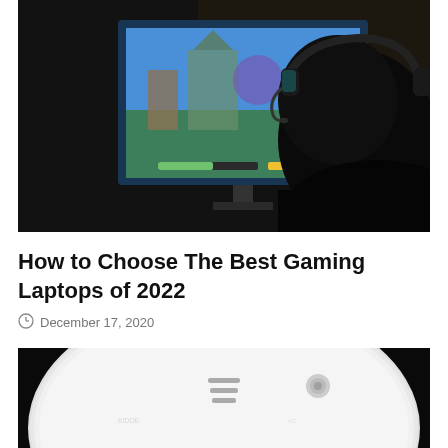[Figure (photo): Person seen from behind wearing gaming headset, facing a monitor displaying a colorful video game in a dark room]
How to Choose The Best Gaming Laptops of 2022
December 17, 2020
[Figure (photo): Close-up of a white circular smoke detector against a dark background, showing ventilation slits and a small sensor/LED port]